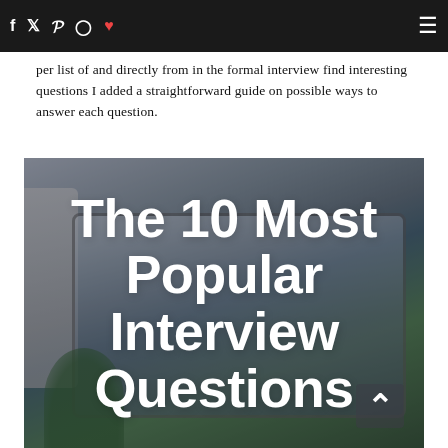Social media navigation bar with icons: Facebook, Twitter, Pinterest, Instagram, Heart/Favorites, and hamburger menu
per list of and directly from in the formal interview find interesting questions I added a straightforward guide on possible ways to answer each question.
[Figure (photo): Photo of tablets/laptops on a desk with a plant, overlaid with large white bold text reading 'The 10 Most Popular Interview Questions' and a chevron-up arrow in the bottom right corner.]